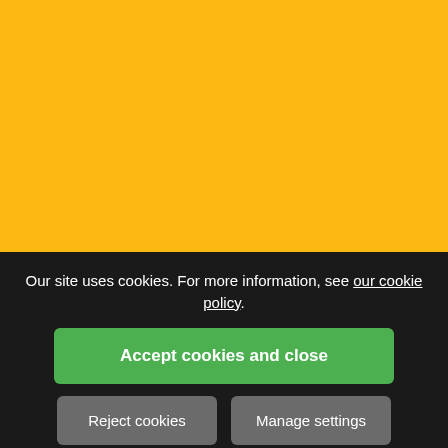[Figure (other): Solid yellow/amber background filling the top portion of the page]
Our site uses cookies. For more information, see our cookie policy.
Accept cookies and close
Reject cookies
Manage settings